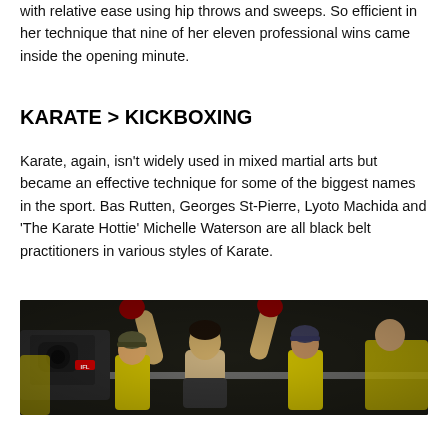with relative ease using hip throws and sweeps. So efficient in her technique that nine of her eleven professional wins came inside the opening minute.
KARATE > KICKBOXING
Karate, again, isn't widely used in mixed martial arts but became an effective technique for some of the biggest names in the sport. Bas Rutten, Georges St-Pierre, Lyoto Machida and ‘The Karate Hottie’ Michelle Waterson are all black belt practitioners in various styles of Karate.
[Figure (photo): MMA fighter celebrating victory with arms raised inside a cage, flanked by corner team members wearing yellow shirts, with an IFL camera visible on the left.]